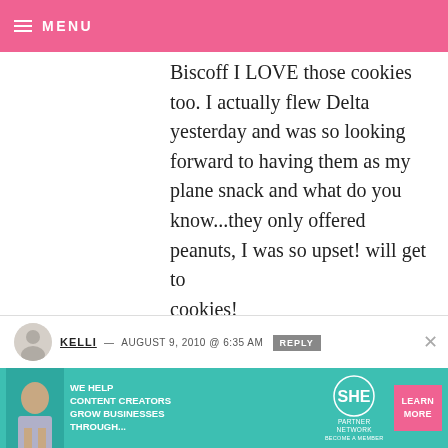≡ MENU
Biscoff I LOVE those cookies too. I actually flew Delta yesterday and was so looking forward to having them as my plane snack and what do you know...they only offered peanuts, I was so upset! will get to cookies!
[Figure (screenshot): Video ad overlay with 'Loading ad' text and spinner, with playback controls (pause, fullscreen, mute) at bottom]
KELLI — AUGUST 9, 2010 @ 6:35 AM   REPLY
[Figure (infographic): SHE Partner Network advertisement banner: 'We help content creators grow businesses through...' with Learn More button in pink]